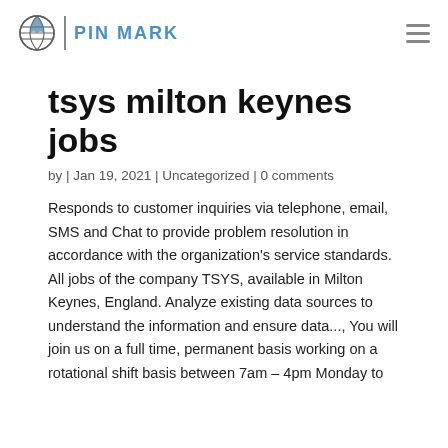[Figure (logo): Pin Mark logo with globe icon, vertical divider, and 'PIN MARK' text in blue]
tsys milton keynes jobs
by | Jan 19, 2021 | Uncategorized | 0 comments
Responds to customer inquiries via telephone, email, SMS and Chat to provide problem resolution in accordance with the organization's service standards. All jobs of the company TSYS, available in Milton Keynes, England. Analyze existing data sources to understand the information and ensure data..., You will join us on a full time, permanent basis working on a rotational shift basis between 7am – 4pm Monday to